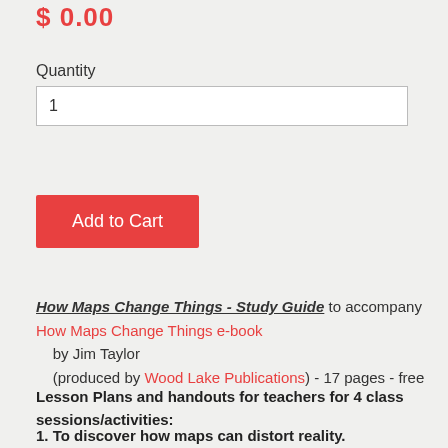$ 0.00
Quantity
1
Add to Cart
How Maps Change Things - Study Guide to accompany How Maps Change Things e-book by Jim Taylor (produced by Wood Lake Publications) - 17 pages - free
Lesson Plans and handouts for teachers for 4 class sessions/activities:
1. To discover how maps can distort reality.
2. To identify some of the ways in which different...